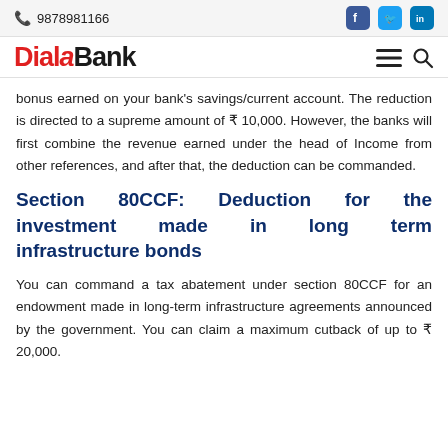9878981166
bonus earned on your bank's savings/current account. The reduction is directed to a supreme amount of ₹ 10,000. However, the banks will first combine the revenue earned under the head of Income from other references, and after that, the deduction can be commanded.
Section 80CCF: Deduction for the investment made in long term infrastructure bonds
You can command a tax abatement under section 80CCF for an endowment made in long-term infrastructure agreements announced by the government. You can claim a maximum cutback of up to ₹ 20,000.